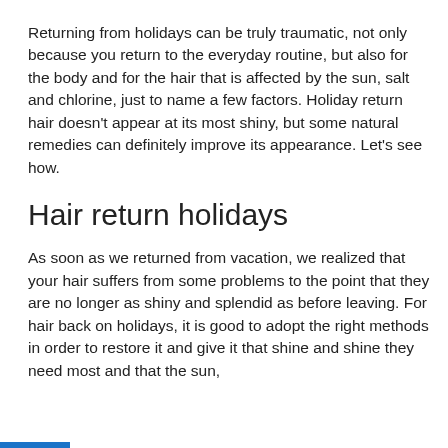Returning from holidays can be truly traumatic, not only because you return to the everyday routine, but also for the body and for the hair that is affected by the sun, salt and chlorine, just to name a few factors. Holiday return hair doesn't appear at its most shiny, but some natural remedies can definitely improve its appearance. Let's see how.
Hair return holidays
As soon as we returned from vacation, we realized that your hair suffers from some problems to the point that they are no longer as shiny and splendid as before leaving. For hair back on holidays, it is good to adopt the right methods in order to restore it and give it that shine and shine they need most and that the sun,